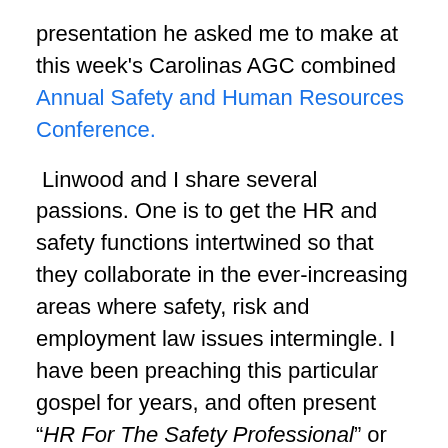presentation he asked me to make at this week's Carolinas AGC combined Annual Safety and Human Resources Conference.
Linwood and I share several passions.  One is to get the HR and safety functions intertwined so that they collaborate in the ever-increasing areas where safety, risk and employment law issues intermingle.  I have been preaching this particular gospel for years, and often present “HR For The Safety Professional” or “Why Safety Matters To HR” clients and business groups.  The CAGC Conference involved joint panel sessions of HR and safety professionals, as well as separate HR and safety tracks where HR folks attended safety sessions and vise versa.  Hats off to CAGC staffers Bill Stricker, Allen Gray and Letiscia Perrin.  We saw some great discussions